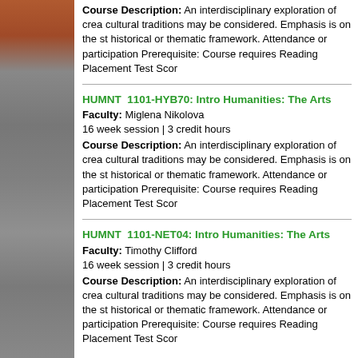Course Description: An interdisciplinary exploration of crea cultural traditions may be considered. Emphasis is on the st historical or thematic framework. Attendance or participation Prerequisite: Course requires Reading Placement Test Scor
HUMNT  1101-HYB70: Intro Humanities: The Arts
Faculty: Miglena Nikolova
16 week session | 3 credit hours
Course Description: An interdisciplinary exploration of crea cultural traditions may be considered. Emphasis is on the st historical or thematic framework. Attendance or participation Prerequisite: Course requires Reading Placement Test Scor
HUMNT  1101-NET04: Intro Humanities: The Arts
Faculty: Timothy Clifford
16 week session | 3 credit hours
Course Description: An interdisciplinary exploration of crea cultural traditions may be considered. Emphasis is on the st historical or thematic framework. Attendance or participation Prerequisite: Course requires Reading Placement Test Scor